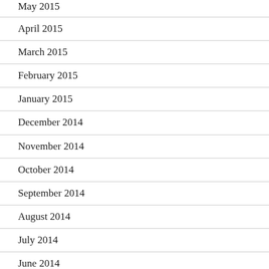May 2015
April 2015
March 2015
February 2015
January 2015
December 2014
November 2014
October 2014
September 2014
August 2014
July 2014
June 2014